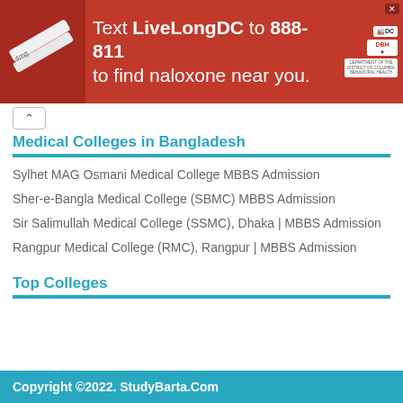[Figure (infographic): Red advertisement banner: 'Text LiveLongDC to 888-811 to find naloxone near you.' with DC and DBH logos on right and naloxone image on left.]
Medical Colleges in Bangladesh
Sylhet MAG Osmani Medical College MBBS Admission
Sher-e-Bangla Medical College (SBMC) MBBS Admission
Sir Salimullah Medical College (SSMC), Dhaka | MBBS Admission
Rangpur Medical College (RMC), Rangpur | MBBS Admission
Top Colleges
Copyright ©2022. StudyBarta.Com